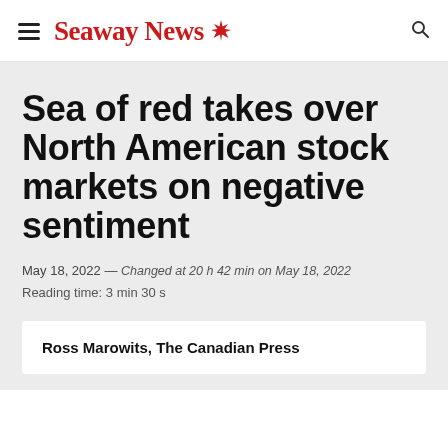SeawayNews
Sea of red takes over North American stock markets on negative sentiment
May 18, 2022 — Changed at 20 h 42 min on May 18, 2022
Reading time: 3 min 30 s
Ross Marowits, The Canadian Press